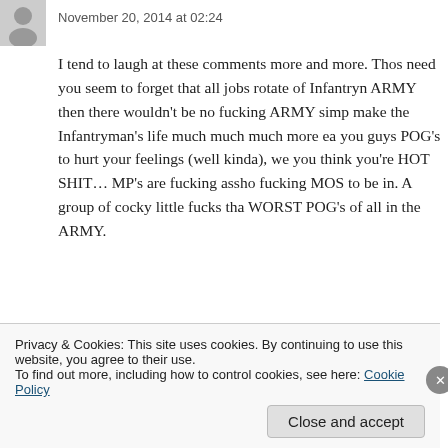November 20, 2014 at 02:24
I tend to laugh at these comments more and more. Those need you seem to forget that all jobs rotate of Infantryman ARMY then there wouldn't be no fucking ARMY simp make the Infantryman's life much much much more ea you guys POG's to hurt your feelings (well kinda), we you think you're HOT SHIT… MP's are fucking assho fucking MOS to be in. A group of cocky little fucks tha WORST POG's of all in the ARMY.
★ Like
Privacy & Cookies: This site uses cookies. By continuing to use this website, you agree to their use.
To find out more, including how to control cookies, see here: Cookie Policy
Close and accept